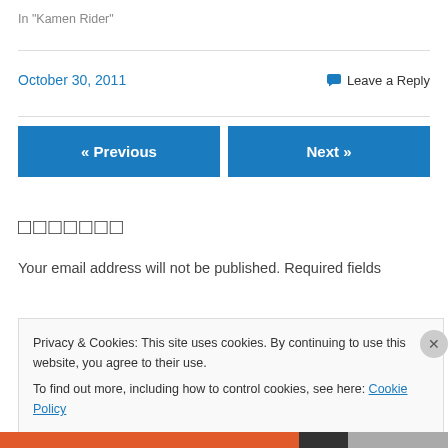In "Kamen Rider"
October 30, 2011
Leave a Reply
« Previous
Next »
□□□□□□□
Your email address will not be published. Required fields
Privacy & Cookies: This site uses cookies. By continuing to use this website, you agree to their use.
To find out more, including how to control cookies, see here: Cookie Policy
Close and accept